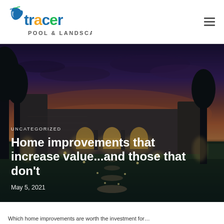Tracer Pool & Landscape
[Figure (photo): Nighttime exterior photo of a large stone country estate with illuminated arched windows, a lit pathway of stone steps through a manicured lawn, trees silhouetted against a dramatic purple-orange sunset sky]
UNCATEGORIZED
Home improvements that increase value…and those that don't
May 5, 2021
Which home improvements are worth the investment for…